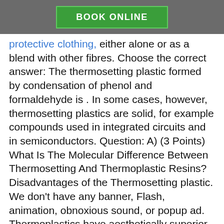BOOK ONLINE
protective clothing, either alone or as a blend with other fibres. Choose the correct answer: The thermosetting plastic formed by condensation of phenol and formaldehyde is . In some cases, however, thermosetting plastics are solid, for example compounds used in integrated circuits and in semiconductors. Question: A) (3 Points) What Is The Molecular Difference Between Thermosetting And Thermoplastic Resins? Disadvantages of the Thermosetting plastic. We don't have any banner, Flash, animation, obnoxious sound, or popup ad. Thermoplastics have aesthetically superior finishes and eco-friendly manufacturing. They are used for making toys, containers. Plastic which gets deformed easily on heating and can be bent easily are known as thermoplastics. They are based on 100% recyclable